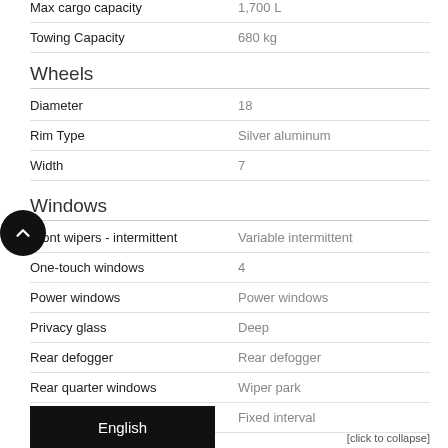| Spec | Value |
| --- | --- |
| Max cargo capacity | 1,700 L |
| Towing Capacity | 680 kg |
Wheels
| Spec | Value |
| --- | --- |
| Diameter | 18 |
| Rim Type | Silver aluminum |
| Width | 7 |
Windows
| Spec | Value |
| --- | --- |
| Front wipers - intermittent | Variable intermittent |
| One-touch windows | 4 |
| Power windows | Power windows |
| Privacy glass | Deep |
| Rear defogger | Rear defogger |
| Rear quarter windows | Wiper park |
| Rear wiper | Fixed interval |
English
[click to collapse]